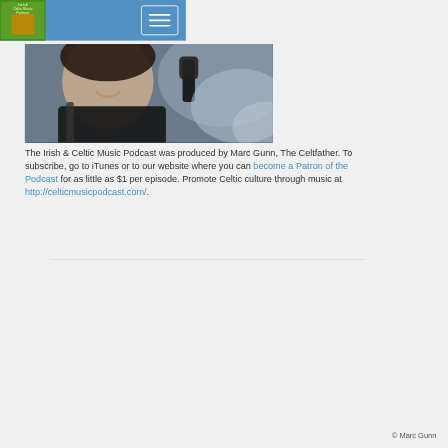Irish & Celtic Music Podcast — navigation header
[Figure (photo): Close-up photo of a person smiling outdoors, wearing dark clothing with a backpack strap visible, holding a microphone or recording device, with rocky terrain in the background.]
The Irish & Celtic Music Podcast was produced by Marc Gunn, The Celtfather. To subscribe, go to iTunes or to our website where you can become a Patron of the Podcast for as little as $1 per episode. Promote Celtic culture through music at http://celticmusicpodcast.com/.
© Marc Gunn